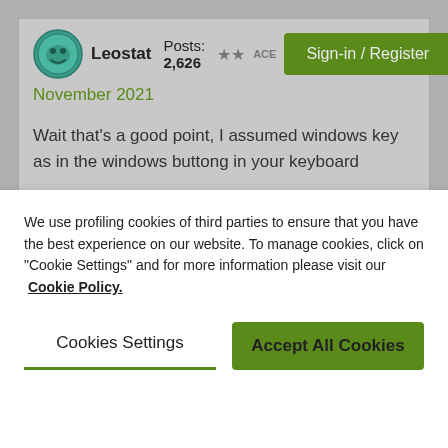Leostat  Posts: 2,626  ★★ ACE  Sign-in / Register
November 2021
Wait that's a good point, I assumed windows key as in the windows buttong in your keyboard

Do you mean windows key as in license key ?
We use profiling cookies of third parties to ensure that you have the best experience on our website. To manage cookies, click on "Cookie Settings" and for more information please visit our Cookie Policy.
Cookies Settings
Accept All Cookies